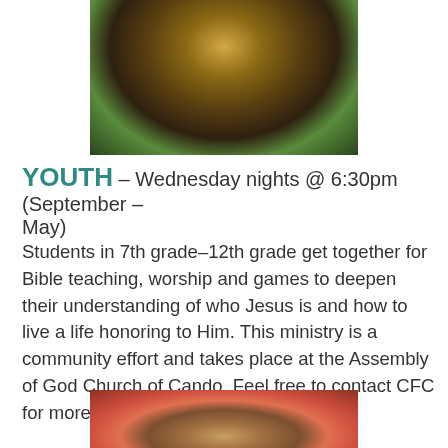[Figure (photo): Group of smiling children looking down into the camera, heads together in a circle]
YOUTH - Wednesday nights @ 6:30pm (September - May)
Students in 7th grade-12th grade get together for Bible teaching, worship and games to deepen their understanding of who Jesus is and how to live a life honoring to Him. This ministry is a community effort and takes place at the Assembly of God Church of Cando. Feel free to contact CFC for more info or if you have questions.
[Figure (photo): Close-up photo of a smiling child, partially visible at bottom of page]